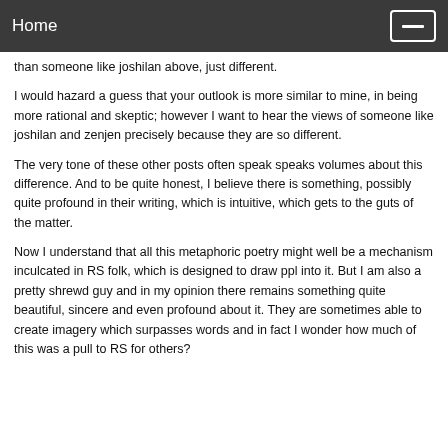Home
than someone like joshilan above, just different.
I would hazard a guess that your outlook is more similar to mine, in being more rational and skeptic; however I want to hear the views of someone like joshilan and zenjen precisely because they are so different.
The very tone of these other posts often speak speaks volumes about this difference. And to be quite honest, I believe there is something, possibly quite profound in their writing, which is intuitive, which gets to the guts of the matter.
Now I understand that all this metaphoric poetry might well be a mechanism inculcated in RS folk, which is designed to draw ppl into it. But I am also a pretty shrewd guy and in my opinion there remains something quite beautiful, sincere and even profound about it. They are sometimes able to create imagery which surpasses words and in fact I wonder how much of this was a pull to RS for others?